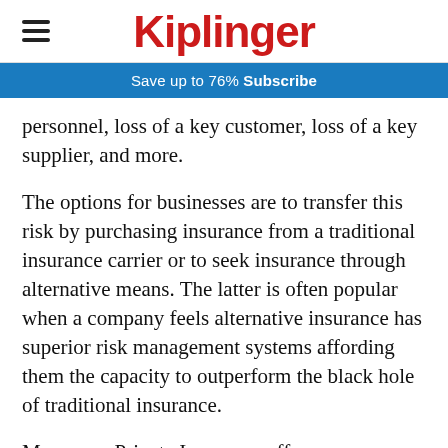Kiplinger
Save up to 76%  Subscribe
personnel, loss of a key customer, loss of a key supplier, and more.
The options for businesses are to transfer this risk by purchasing insurance from a traditional insurance carrier or to seek insurance through alternative means. The latter is often popular when a company feels alternative insurance has superior risk management systems affording them the capacity to outperform the black hole of traditional insurance.
Moreover, Private Insurance offers even more than